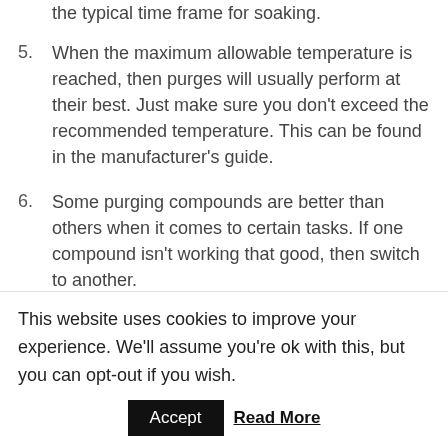the typical time frame for soaking.
5. When the maximum allowable temperature is reached, then purges will usually perform at their best. Just make sure you don’t exceed the recommended temperature. This can be found in the manufacturer’s guide.
6. Some purging compounds are better than others when it comes to certain tasks. If one compound isn’t working that good, then switch to another.
7. If there are stubborn deposits, then vary the screw
This website uses cookies to improve your experience. We’ll assume you’re ok with this, but you can opt-out if you wish.
Accept   Read More